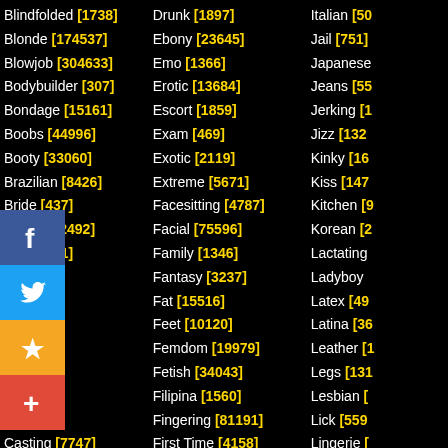Blindfolded [1738]
Blonde [174537]
Blowjob [304633]
Bodybuilder [307]
Bondage [15161]
Boobs [44996]
Booty [33060]
Brazilian [8426]
Bride [437]
British [12492]
B [223131]
B [91]
B [6277]
B [6]
B [085]
C [1026]
C [3147]
C [11]
Casting [7747]
Caught [5961]
Celebrity [6544]
Cfnm [3482]
Drunk [1897]
Ebony [23645]
Emo [1366]
Erotic [13684]
Escort [1859]
Exam [469]
Exotic [2119]
Extreme [5671]
Facesitting [4787]
Facial [75596]
Family [1346]
Fantasy [3237]
Fat [15516]
Feet [10120]
Femdom [19979]
Fetish [34043]
Filipina [1560]
Fingering [81191]
First Time [4158]
Fishnet [7343]
Fisting [8718]
Fitness [542]
Italian [50...]
Jail [751]
Japanese [...]
Jeans [55...]
Jerking [1...]
Jizz [132...]
Kinky [16...]
Kiss [147...]
Kitchen [9...]
Korean [2...]
Lactating [...]
Ladyboy [...]
Latex [49...]
Latina [36...]
Leather [1...]
Legs [131...]
Lesbian [...]
Lick [559]
Lingerie [...]
Lipstick [0...]
Machine [...]
Maid [30...]